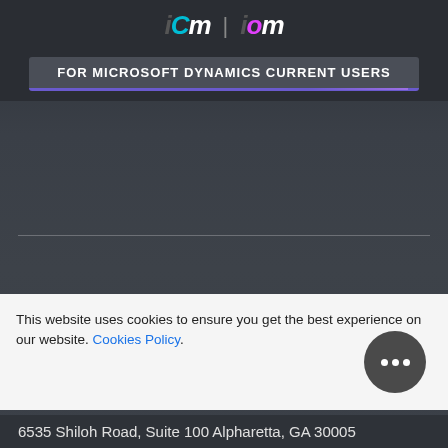[Figure (logo): iCM and iOM logos side by side with separator]
FOR MICROSOFT DYNAMICS CURRENT USERS
CHICAGO
4580 Weaver Parkway, Suite 202 Warrenville, IL 60555
This website uses cookies to ensure you get the best experience on our website. Cookies Policy.
6535 Shiloh Road, Suite 100 Alpharetta, GA 30005